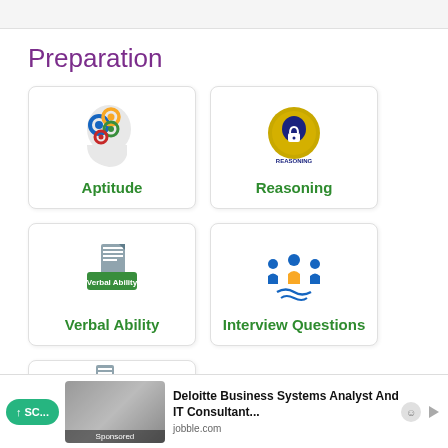Preparation
[Figure (illustration): Aptitude card icon: human head silhouette with colorful gears (blue, yellow, green, red) inside]
Aptitude
[Figure (illustration): Reasoning card icon: gold circle with a human head and lock symbol, labeled REASONING]
Reasoning
[Figure (illustration): Verbal Ability card icon: document/list icon with a green label reading Verbal Ability]
Verbal Ability
[Figure (illustration): Interview Questions card icon: group of stylized people figures in blue and yellow arranged in a circle]
Interview Questions
[Figure (illustration): Partially visible Company card at the bottom]
Company
Deloitte Business Systems Analyst And IT Consultant... | jobble.com | Sponsored